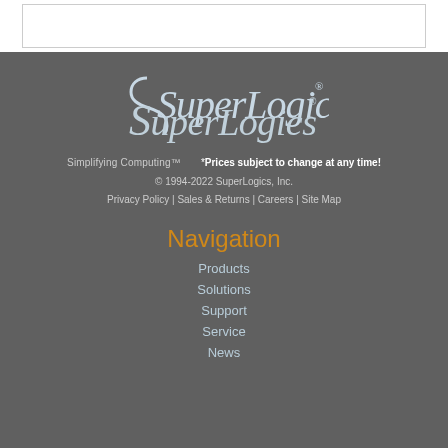[Figure (logo): SuperLogics logo with stylized S and italic serif text]
Simplifying Computing™    *Prices subject to change at any time!
© 1994-2022 SuperLogics, Inc.
Privacy Policy | Sales & Returns | Careers | Site Map
Navigation
Products
Solutions
Support
Service
News